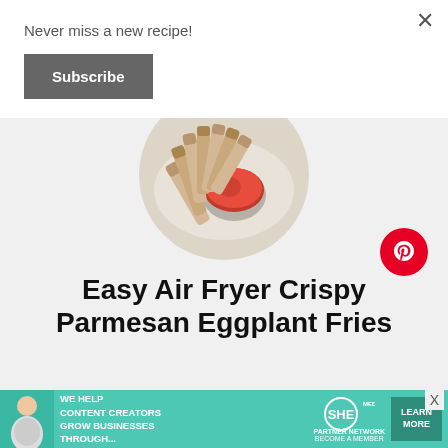Never miss a new recipe!
Subscribe
[Figure (photo): Overhead shot of crispy eggplant fries arranged on a plate with a small bowl of red dipping sauce in the center, shown in a circular crop]
Easy Air Fryer Crispy Parmesan Eggplant Fries
Total Time: 47 minutes   Yield: 4 servings
[Figure (infographic): SHE Media Partner Network advertisement banner: 'We help content creators grow businesses through...' with Learn More button]